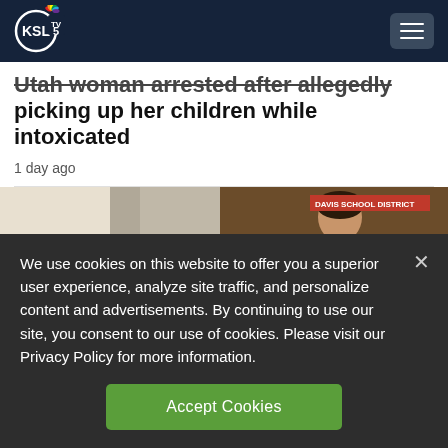KSL TV 5 NBC — navigation header with logo and menu button
Utah woman arrested after allegedly picking up her children while intoxicated
1 day ago
[Figure (photo): Split image: left side shows a room interior, right side shows a woman with 'DAVIS SCHOOL DISTRICT' text overlay]
We use cookies on this website to offer you a superior user experience, analyze site traffic, and personalize content and advertisements. By continuing to use our site, you consent to our use of cookies. Please visit our Privacy Policy for more information.
Accept Cookies